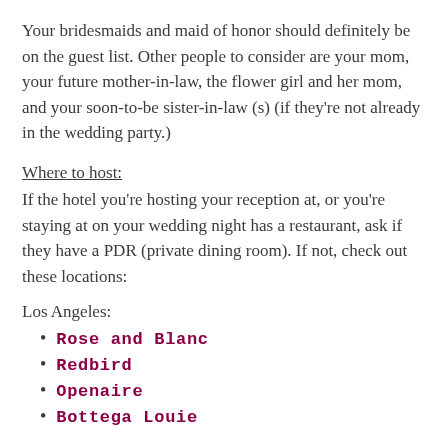Your bridesmaids and maid of honor should definitely be on the guest list. Other people to consider are your mom, your future mother-in-law, the flower girl and her mom, and your soon-to-be sister-in-law (s) (if they're not already in the wedding party.)
Where to host:
If the hotel you're hosting your reception at, or you're staying at on your wedding night has a restaurant, ask if they have a PDR (private dining room). If not, check out these locations:
Los Angeles:
Rose and Blanc
Redbird
Openaire
Bottega Louie